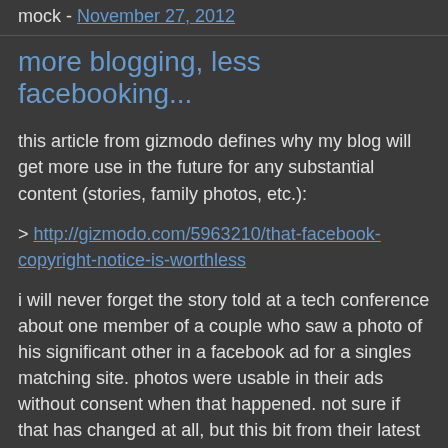mock - November 27, 2012
more blogging, less facebooking...
this article from gizmodo defines why my blog will get more use in the future for any substantial content (stories, family photos, etc.):
> http://gizmodo.com/5963210/that-facebook-copyright-notice-is-worthless
i will never forget the story told at a tech conference about one member of a couple who saw a photo of his significant other in a facebook ad for a singles matching site. photos were usable in their ads without consent when that happened. not sure if that has changed at all, but this bit from their latest revision of the notice makes me wonder:
For content that is covered by intellectual property rights, like photos and videos (IP